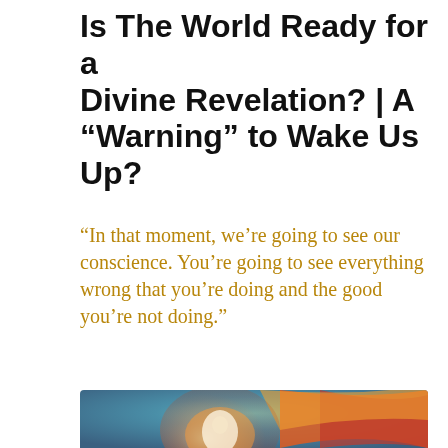Is The World Ready for a Divine Revelation? | A “Warning” to Wake Us Up?
“In that moment, we’re going to see our conscience. You’re going to see everything wrong that you’re doing and the good you’re not doing.”
[Figure (illustration): A colorful spiritual illustration showing a glowing heart shape in warm orange/red tones with a figure of the Virgin Mary holding the infant Jesus, set against a background of teal, blue, and sweeping orange and red rays of light.]